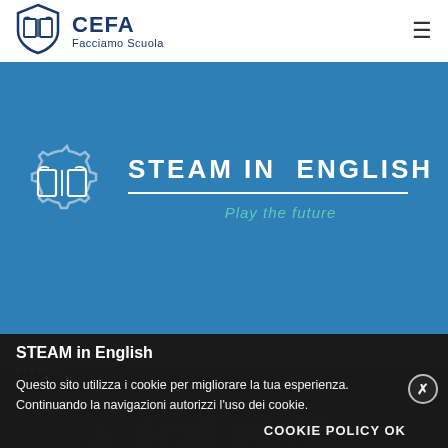[Figure (logo): CEFA Facciamo Scuola shield logo with open book icon]
CEFA
Facciamo Scuola
[Figure (illustration): Blue banner with STEAM IN ENGLISH title, decorative book/gear icon, and italic subtitle 'Play the future']
STEAM in English
FEPRU...
Questo sito utilizza i cookie per migliorare la tua esperienza. Continuando la navigazioni autorizzi l'uso dei cookie.
COOKIE POLICY OK